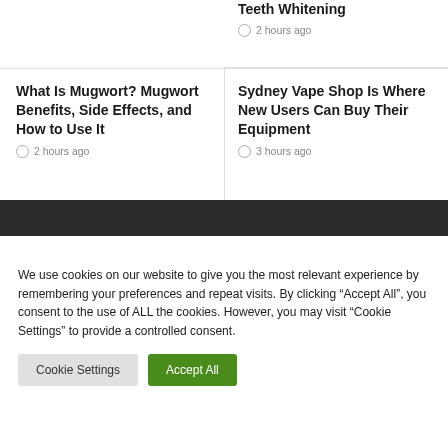Teeth Whitening
2 hours ago
What Is Mugwort? Mugwort Benefits, Side Effects, and How to Use It
2 hours ago
Sydney Vape Shop Is Where New Users Can Buy Their Equipment
3 hours ago
We use cookies on our website to give you the most relevant experience by remembering your preferences and repeat visits. By clicking “Accept All”, you consent to the use of ALL the cookies. However, you may visit "Cookie Settings" to provide a controlled consent.
Cookie Settings
Accept All